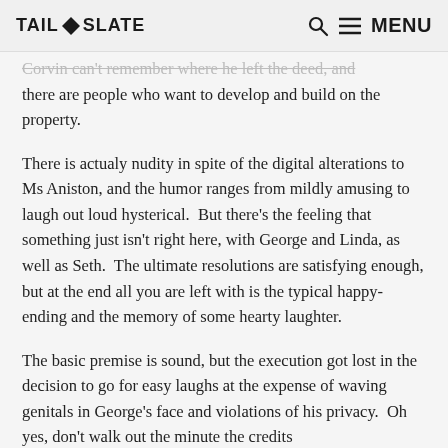TAIL SLATE  🔍 ☰ Menu
Corvin can't remember where he left the deed, and there are people who want to develop and build on the property.
There is actualy nudity in spite of the digital alterations to Ms Aniston, and the humor ranges from mildly amusing to laugh out loud hysterical.  But there's the feeling that something just isn't right here, with George and Linda, as well as Seth.  The ultimate resolutions are satisfying enough, but at the end all you are left with is the typical happy-ending and the memory of some hearty laughter.
The basic premise is sound, but the execution got lost in the decision to go for easy laughs at the expense of waving genitals in George's face and violations of his privacy.  Oh yes, don't walk out the minute the credits